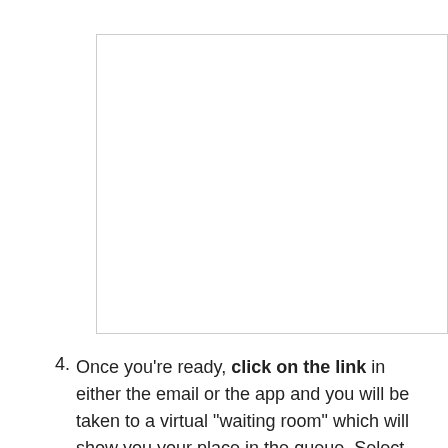[Figure (screenshot): A blank white rectangular box with a light gray border, representing a placeholder image or screenshot area.]
Once you're ready, click on the link in either the email or the app and you will be taken to a virtual "waiting room" which will show you your place in the queue. Select Start